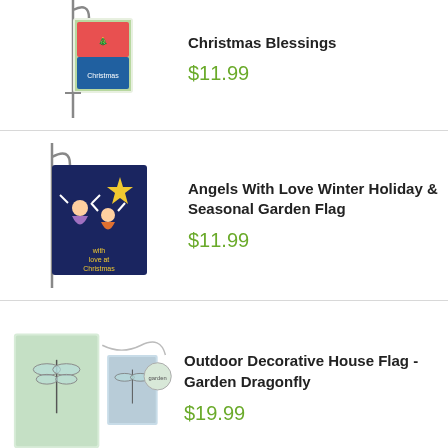[Figure (photo): Christmas garden flag on a pole, partial view at top of page]
Christmas Blessings
$11.99
[Figure (photo): Angels With Love Winter Holiday garden flag on a pole, dark blue with stars and angels]
Angels With Love Winter Holiday & Seasonal Garden Flag
$11.99
[Figure (photo): Outdoor decorative house flag and garden flag with dragonfly design]
Outdoor Decorative House Flag - Garden Dragonfly
$19.99
Our website uses cookies to make your browsing experience better. By using our site you agree to our use of cookies. Learn More I Agree